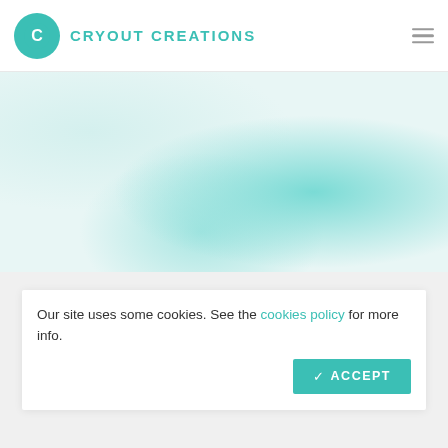CRYOUT CREATIONS
[Figure (screenshot): Hero image with light teal/turquoise marbled watercolor background]
[Figure (screenshot): Mantra watermark text and subtitle below hero section]
Our site uses some cookies. See the cookies policy for more info.